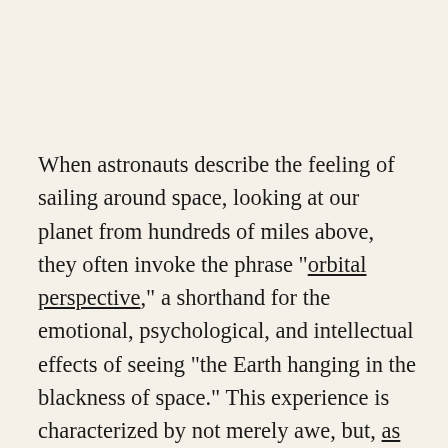When astronauts describe the feeling of sailing around space, looking at our planet from hundreds of miles above, they often invoke the phrase "orbital perspective," a shorthand for the emotional, psychological, and intellectual effects of seeing "the Earth hanging in the blackness of space." This experience is characterized by not merely awe, but, as astronaut Ron Garan puts it, "a sobering contradiction. On the one hand, I saw this incredibly beautiful, fragile oasis -- the Earth. On the other hand, I was faced with a...